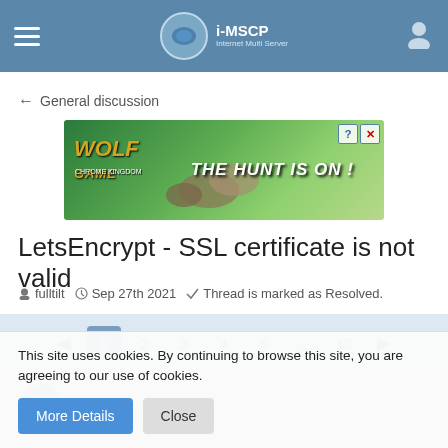i-MSCP Internet Multi Server Control Panel
← General discussion
[Figure (photo): Advertisement banner for Wolf Game: Chrome Kingdom featuring wolves in a field with text 'THE HUNT IS ON!']
LetsEncrypt - SSL certificate is not valid
fulltilt  Sep 27th 2021  Thread is marked as Resolved.
◂ 1 2 3 4 5 … 13 ▸
fulltilt
This site uses cookies. By continuing to browse this site, you are agreeing to our use of cookies.
More Details   Close